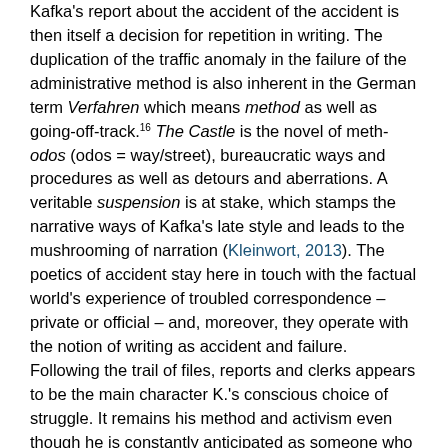Kafka's report about the accident of the accident is then itself a decision for repetition in writing. The duplication of the traffic anomaly in the failure of the administrative method is also inherent in the German term Verfahren which means method as well as going-off-track.16 The Castle is the novel of meth-odos (odos = way/street), bureaucratic ways and procedures as well as detours and aberrations. A veritable suspension is at stake, which stamps the narrative ways of Kafka's late style and leads to the mushrooming of narration (Kleinwort, 2013). The poetics of accident stay here in touch with the factual world's experience of troubled correspondence – private or official – and, moreover, they operate with the notion of writing as accident and failure. Following the trail of files, reports and clerks appears to be the main character K.'s conscious choice of struggle. It remains his method and activism even though he is constantly anticipated as someone who lost his way, goes too far and doesn't know his place – both in a metaphorical moral manner and in a literal way.
Right from the beginning of his arrival at the village, the